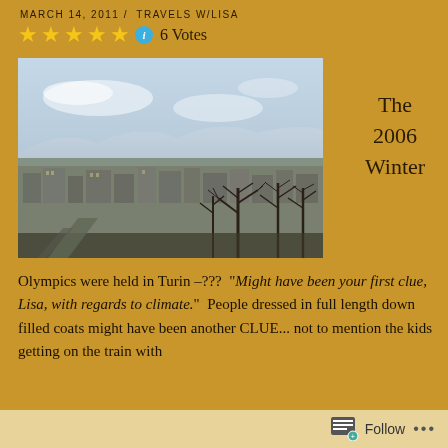MARCH 14, 2011 / TRAVELS W/LISA
★★★★★ ⓘ 6 Votes
[Figure (photo): Aerial/elevated view of Turin city skyline with buildings, bare winter trees, and hazy sky with mountains in the background. The 2006 Winter Olympics were held here.]
The 2006 Winter
Olympics were held in Turin –???  "Might have been your first clue, Lisa, with regards to climate."  People dressed in full length down filled coats might have been another CLUE... not to mention the kids getting on the train with
Follow ...